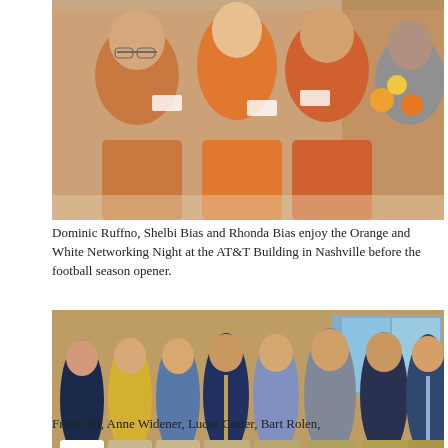[Figure (photo): Group photo of Dominic Ruffno, Shelbi Bias and Rhonda Bias wearing orange at the Orange and White Networking Night at the AT&T Building in Nashville.]
Dominic Ruffno, Shelbi Bias and Rhonda Bias enjoy the Orange and White Networking Night at the AT&T Building in Nashville before the football season opener.
[Figure (photo): Group photo of Anne Widener, Lucas Cotter, Bart Rolen, and others standing together indoors.]
From left, Anne Widener, Lucas Cotter, Bart Rolen,